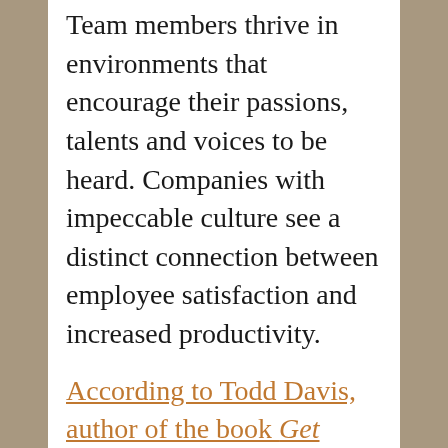Team members thrive in environments that encourage their passions, talents and voices to be heard. Companies with impeccable culture see a distinct connection between employee satisfaction and increased productivity.
According to Todd Davis, author of the book Get Better: 15 Proven Practices to Build Effective Relationships at Work, “Employees with low (or no) engagement come to work for a paycheck. Nothing more. They do just enough to ensure they aren’t put on a